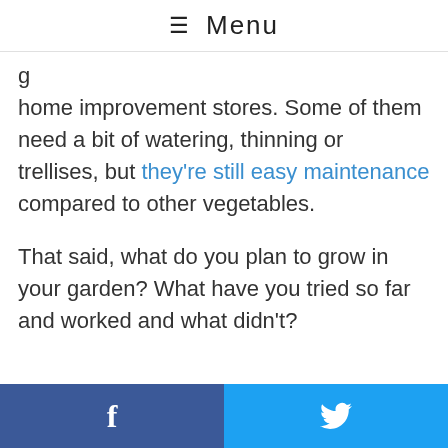☰ Menu
g home improvement stores. Some of them need a bit of watering, thinning or trellises, but they're still easy maintenance compared to other vegetables.
That said, what do you plan to grow in your garden? What have you tried so far and worked and what didn't?
[Figure (other): Facebook and Twitter share buttons at bottom of page]